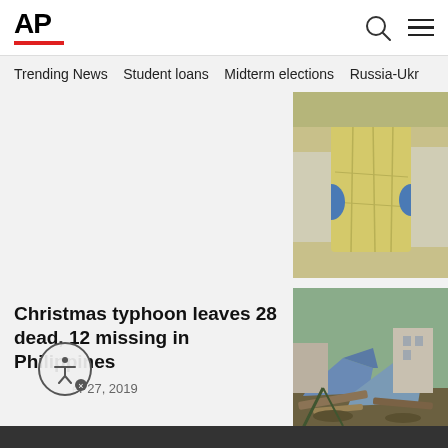AP
Trending News   Student loans   Midterm elections   Russia-Ukr
[Figure (photo): Person wearing a yellow protective gown and blue gloves in a medical/laboratory setting]
Christmas typhoon leaves 28 dead, 12 missing in Philippines
December 27, 2019
[Figure (photo): Debris and destroyed boats on the ground after typhoon damage in the Philippines]